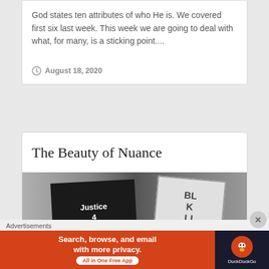God states ten attributes of who He is. We covered first six last week. This week we are going to deal with what, for many, is a sticking point....
August 18, 2020
The Beauty of Nuance
[Figure (photo): Black and white photograph of protest signs, one reading 'Justice 4 Geor...' and another partially visible on the right side]
Advertisements
[Figure (screenshot): DuckDuckGo advertisement banner: 'Search, browse, and email with more privacy. All in One Free App' with DuckDuckGo logo on dark background]